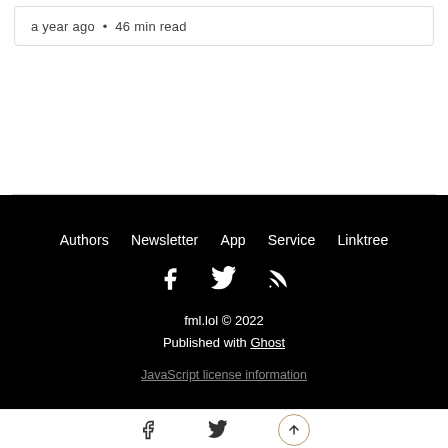a year ago • 46 min read
Authors  Newsletter  App  Service  Linktree
fml.lol © 2022
Published with Ghost
JavaScript license information